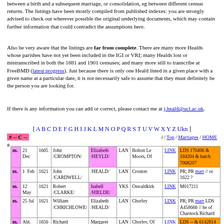between a birth and a subsequent marriage, or consolidation, eg between different census returns. The listings have been mostly compiled from published indexes: you are strongly advised to check out wherever possible the original underlying documents, which may contain further information that could contradict the assumptions here.
Also be very aware that the listings are far from complete. There are many more Healds whose parishes have not yet been included in the IGI or VRI; many Healds lost or mistranscribed in both the 1881 and 1901 censuses; and many more still to transcribe at FreeBMD (latest progress). Just because there is only one Heald listed in a given place with a given name at a particular date, it is not necessarily safe to assume that they must definitely be the person you are looking for.
If there is any information you can add or correct, please contact me at j.heald@ucl.ac.uk.
[ A B C D E F G H I J K L M N O P Q R S T U V W X Y Z Ukn ]
# -- C --
i / Top / Marriages / HOME
#
| type | date | year | person | spouse | county | place | link | notes |
| --- | --- | --- | --- | --- | --- | --- | --- | --- |
| m. | 21 Dec | 1605 | John /CROMPTON/ | Elizabeth /HEYLD/ | LAN | Bolton Le Moors, Of | LINK | LDS 170406 & 184204 & batch 7008207 |
| m. | 1 Feb | 1621 | John /CARDWELL/ | /HEALD/ | LAN | Croston | LINK | PR; PR marr // or 1622 ? |
| m. | 12 May | 1621 | Robert /CLARKE/ | Isabell /HIELDE/ | YKS | Oswaldkirk | LINK | M017211 |
| m. | 25 Jul | 1621 | William /CHRICHLOWE/ | Elizabeth /HEALD/ | LAN | Chorley | LINK | PR; PR marr LDS A458666 // he of Charnock Richard |
| m. | Abt. | 1656 | Richard /CHARNOCK/ | Margaret /HEALD/ | LAN | Chorley, Of Charnock Richard | LINK | LDS -- & 6142814 |
| m. | 26 Jun | 1662 | William /CHATTERTON/ | Mary /HEALD/ | LAN | Bury, [Burylane] | LINK | LDS A459012 & 459014 |